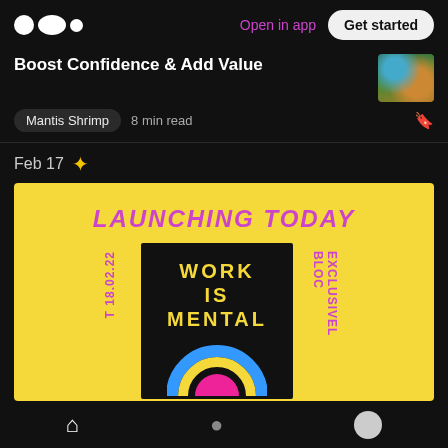Open in app | Get started
Boost Confidence & Add Value
Mantis Shrimp  8 min read
Feb 17 ✦
[Figure (infographic): Yellow promotional banner reading 'LAUNCHING TODAY' with a black card in the center showing 'WORK IS MENTAL' in yellow text and a rainbow arc graphic below. Side text reads '18.02.22' and 'EXCLUSIVELY BLO...' in pink rotated text.]